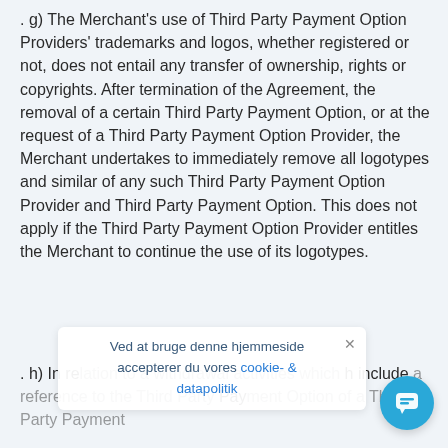. g) The Merchant's use of Third Party Payment Option Providers' trademarks and logos, whether registered or not, does not entail any transfer of ownership, rights or copyrights. After termination of the Agreement, the removal of a certain Third Party Payment Option, or at the request of a Third Party Payment Option Provider, the Merchant undertakes to immediately remove all logotypes and similar of any such Third Party Payment Option Provider and Third Party Payment Option. This does not apply if the Third Party Payment Option Provider entitles the Merchant to continue the use of its logotypes.
. h) In relation to a withdrawal activities which include a reference to the Third Party Payment Option of a Third Party Payment
Ved at bruge denne hjemmeside accepterer du vores cookie- & datapolitik